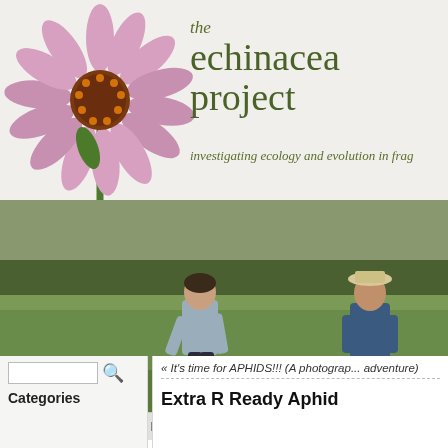[Figure (logo): The Echinacea Project logo with illustrated echinacea flower and text 'the echinacea project - investigating ecology and evolution in frag...']
[Figure (photo): Two researchers working in a green field, one wearing a hat, examining plants]
Home  Background  Projects  Flog  People  Opportunities  Publi...
« It's time for APHIDS!!! (A photograp... adventure)
Categories
Extra R Ready Aphid...